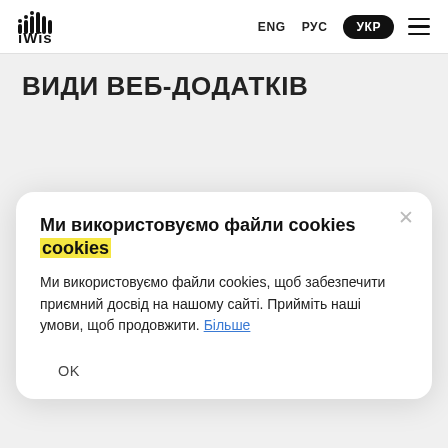iWis | ENG | РУС | УКР
ВИДИ ВЕБ-ДОДАТКІВ
[Figure (screenshot): Cookie consent dialog popup with title 'Ми використовуємо файли cookies', body text explaining cookie usage, 'Більше' link, and 'OK' button]
Ми використовуємо файли cookies
Ми використовуємо файли cookies, щоб забезпечити приємний досвід на нашому сайті. Прийміть наші умови, щоб продовжити. Більше
OK